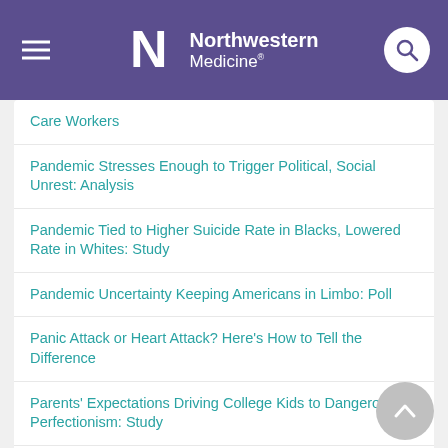Northwestern Medicine
Care Workers
Pandemic Stresses Enough to Trigger Political, Social Unrest: Analysis
Pandemic Tied to Higher Suicide Rate in Blacks, Lowered Rate in Whites: Study
Pandemic Uncertainty Keeping Americans in Limbo: Poll
Panic Attack or Heart Attack? Here's How to Tell the Difference
Parents' Expectations Driving College Kids to Dangerous Perfectionism: Study
Parents Feel the Strain as Pandemic Adds New Role: Teacher